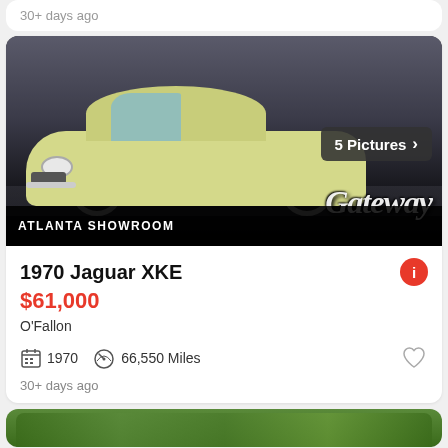30+ days ago
[Figure (photo): 1970 Jaguar XKE classic car in cream/yellow color, front three-quarter view, at Atlanta Showroom (Gateway Classic Cars). Text overlay: '5 Pictures >', 'ATLANTA SHOWROOM', 'Gateway' script logo.]
1970 Jaguar XKE
$61,000
O'Fallon
1970   66,550 Miles
30+ days ago